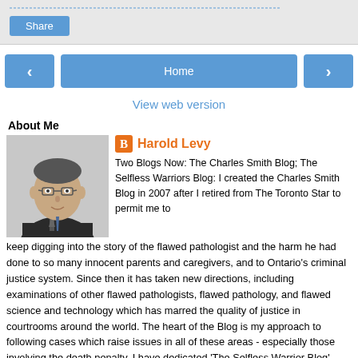[Figure (other): Share button area with dotted link above and a blue Share button below]
[Figure (other): Navigation row with left arrow button, Home button, and right arrow button]
View web version
About Me
[Figure (photo): Profile photo of Harold Levy, a middle-aged man in a suit]
Harold Levy
Two Blogs Now: The Charles Smith Blog; The Selfless Warriors Blog: I created the Charles Smith Blog in 2007 after I retired from The Toronto Star to permit me to keep digging into the story of the flawed pathologist and the harm he had done to so many innocent parents and caregivers, and to Ontario's criminal justice system. Since then it has taken new directions, including examinations of other flawed pathologists, flawed pathology, and flawed science and technology which has marred the quality of justice in courtrooms around the world. The heart of the Blog is my approach to following cases which raise issues in all of these areas - especially those involving the death penalty. I have dedicated 'The Selfless Warrior Blog' (soon to